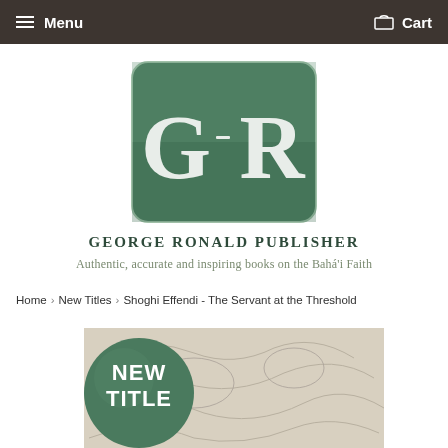Menu   Cart
[Figure (logo): George Ronald Publisher logo: green rounded rectangle with large GR initials in serif font]
GEORGE RONALD PUBLISHER
Authentic, accurate and inspiring books on the Bahá'i Faith
Home › New Titles › Shoghi Effendi - The Servant at the Threshold
[Figure (illustration): Book cover showing a 'NEW TITLE' green badge over a map illustration for Shoghi Effendi - The Servant at the Threshold]